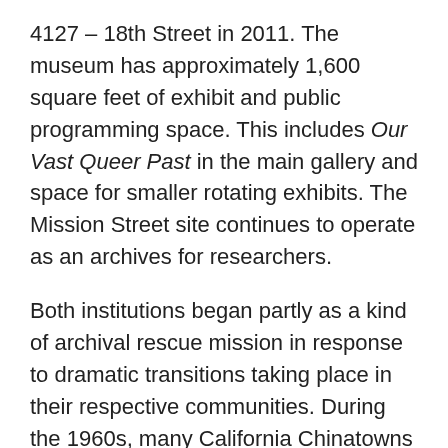4127 – 18th Street in 2011. The museum has approximately 1,600 square feet of exhibit and public programming space. This includes Our Vast Queer Past in the main gallery and space for smaller rotating exhibits. The Mission Street site continues to operate as an archives for researchers.
Both institutions began partly as a kind of archival rescue mission in response to dramatic transitions taking place in their respective communities. During the 1960s, many California Chinatowns were disappearing as residents moved out or passed away. The CHSA chartered bus trips to vanishing Chinatowns in Weaverville, San Luis Obispo, Hooverville, and elsewhere, gathering donations in the form of documents and artifacts ranging from boats to baskets to business signs. One donation included an